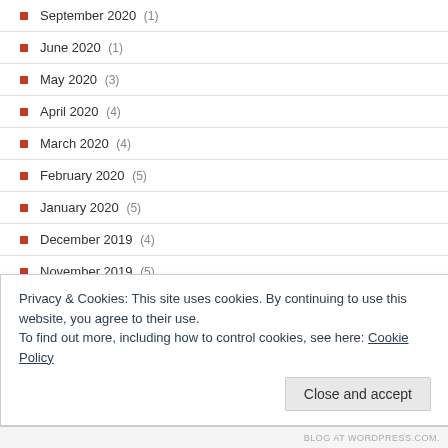September 2020 (1)
June 2020 (1)
May 2020 (3)
April 2020 (4)
March 2020 (4)
February 2020 (5)
January 2020 (5)
December 2019 (4)
November 2019 (5)
October 2019 (4)
September 2019 (5)
Privacy & Cookies: This site uses cookies. By continuing to use this website, you agree to their use. To find out more, including how to control cookies, see here: Cookie Policy
Close and accept